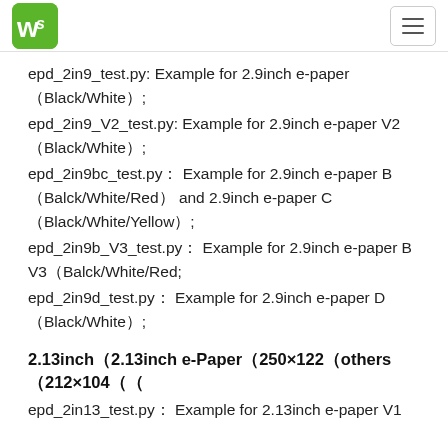Waveshare logo and navigation menu
epd_2in9_test.py: Example for 2.9inch e-paper（Black/White）;
epd_2in9_V2_test.py: Example for 2.9inch e-paper V2（Black/White）;
epd_2in9bc_test.py： Example for 2.9inch e-paper B（Balck/White/Red） and 2.9inch e-paper C（Black/White/Yellow）;
epd_2in9b_V3_test.py： Example for 2.9inch e-paper B V3（Balck/White/Red;
epd_2in9d_test.py： Example for 2.9inch e-paper D（Black/White）;
2.13inch（2.13inch e-Paper（250×122（others（212×104（（
epd_2in13_test.py： Example for 2.13inch e-paper V1